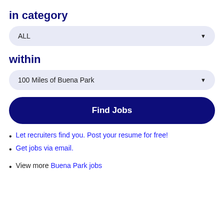in category
ALL (dropdown)
within
100 Miles of Buena Park (dropdown)
Find Jobs
Let recruiters find you. Post your resume for free!
Get jobs via email.
View more Buena Park jobs